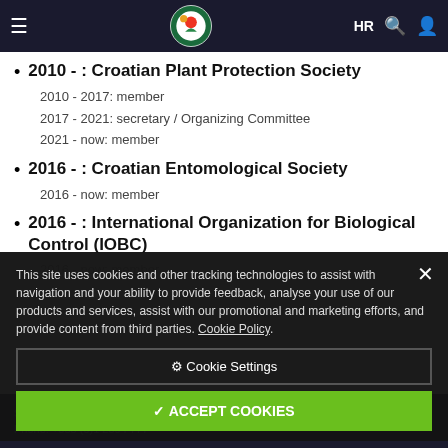HR [navigation bar with logo, search, user icons]
2010 - : Croatian Plant Protection Society
2010 - 2017: member
2017 - 2021: secretary / Organizing Committee
2021 - now: member
2016 - : Croatian Entomological Society
2016 - now: member
2016 - : International Organization for Biological Control (IOBC)
2016 - now: member
This site uses cookies and other tracking technologies to assist with navigation and your ability to provide feedback, analyse your use of our products and services, assist with our promotional and marketing efforts, and provide content from third parties. Cookie Policy.
Svetošimunska cesta 25, 10000 Zagreb
Phone: +385 (0)1 2394 777